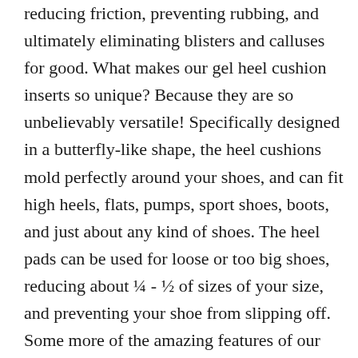reducing friction, preventing rubbing, and ultimately eliminating blisters and calluses for good. What makes our gel heel cushion inserts so unique? Because they are so unbelievably versatile! Specifically designed in a butterfly-like shape, the heel cushions mold perfectly around your shoes, and can fit high heels, flats, pumps, sport shoes, boots, and just about any kind of shoes. The heel pads can be used for loose or too big shoes, reducing about ¼ - ½ of sizes of your size, and preventing your shoe from slipping off. Some more of the amazing features of our heel grip liners:     Premium quality, made of high-quality PU gel with a durable fabric on the exterior;     Safe, the pads are skin-safe and hypoallergenic, and are suitable for sensitive skin; Self-adhesive, the heel pads feature a strong adhesive that prevents them from slipping;     Washable and reusable, you can wash the heel grips to reactivate the adhesive so you can reuse them over and over again;     Satisfaction